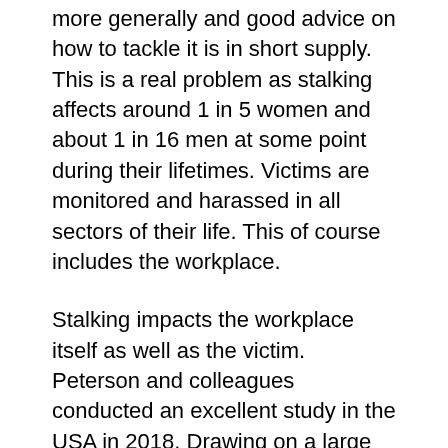more generally and good advice on how to tackle it is in short supply. This is a real problem as stalking affects around 1 in 5 women and about 1 in 16 men at some point during their lifetimes. Victims are monitored and harassed in all sectors of their life. This of course includes the workplace.
Stalking impacts the workplace itself as well as the victim. Peterson and colleagues conducted an excellent study in the USA in 2018. Drawing on a large and representative dataset, they found that domestic violence, sexual violence and stalking combined cost the US economy around $110 billion. When these researchers examined the short-term impact in lost productivity alone